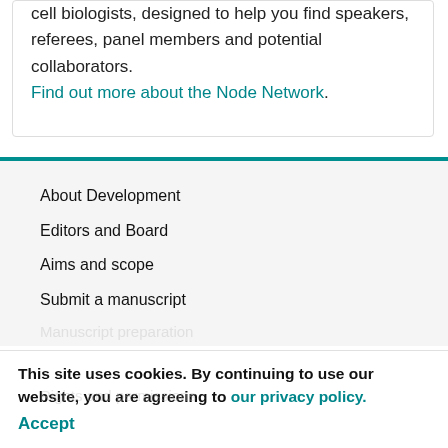cell biologists, designed to help you find speakers, referees, panel members and potential collaborators. Find out more about the Node Network.
About Development
Editors and Board
Aims and scope
Submit a manuscript
Manuscript preparation (faded)
This site uses cookies. By continuing to use our website, you are agreeing to our privacy policy. Accept